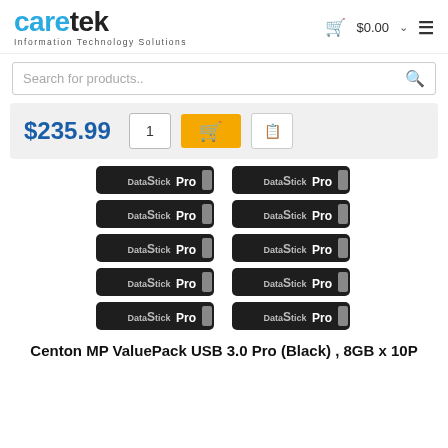caretek - Information Technology Solutions | $0.00 cart
Search for products..
$235.99 | Qty: 1 | Add to Cart | Copy
[Figure (photo): Ten black Centon DataStick Pro USB 3.0 drives arranged in a 2-column, 5-row grid]
Centon MP ValuePack USB 3.0 Pro (Black) , 8GB x 10P